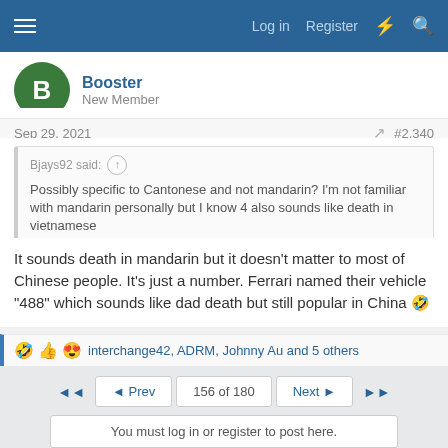Log in  Register
Booster
New Member
Sep 29, 2021   #2,340
Bjays92 said: Possibly specific to Cantonese and not mandarin? I'm not familiar with mandarin personally but I know 4 also sounds like death in vietnamese
It sounds death in mandarin but it doesn't matter to most of Chinese people. It's just a number. Ferrari named their vehicle "488" which sounds like dad death but still popular in China 🤣
🤣👍😍 interchange42, ADRM, Johnny Au and 5 others
◄◄  ◄ Prev  156 of 180  Next ►  ►► 
You must log in or register to post here.